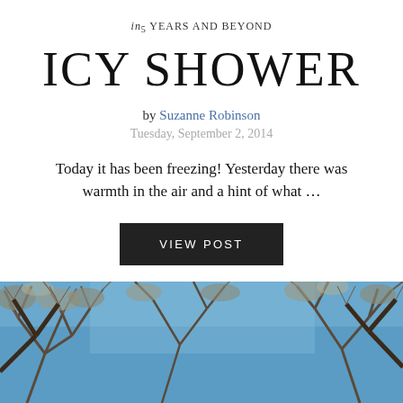in 5 YEARS AND BEYOND
ICY SHOWER
by Suzanne Robinson
Tuesday, September 2, 2014
Today it has been freezing! Yesterday there was warmth in the air and a hint of what …
VIEW POST
[Figure (photo): Looking up through bare winter tree branches against a blue sky]